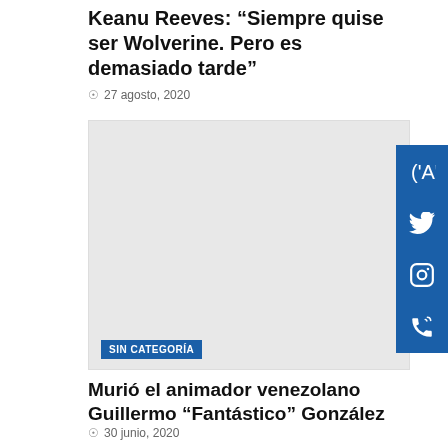Keanu Reeves: “Siempre quise ser Wolverine. Pero es demasiado tarde”
27 agosto, 2020
[Figure (photo): Grey placeholder image for article about Keanu Reeves]
SIN CATEGORÍA
Murió el animador venezolano Guillermo “Fantástico” González
30 junio, 2020